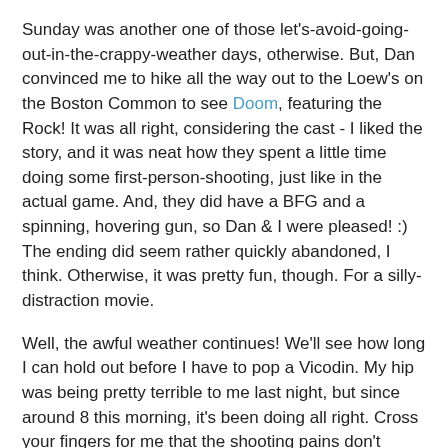Sunday was another one of those let's-avoid-going-out-in-the-crappy-weather days, otherwise. But, Dan convinced me to hike all the way out to the Loew's on the Boston Common to see Doom, featuring the Rock! It was all right, considering the cast - I liked the story, and it was neat how they spent a little time doing some first-person-shooting, just like in the actual game. And, they did have a BFG and a spinning, hovering gun, so Dan & I were pleased! :) The ending did seem rather quickly abandoned, I think. Otherwise, it was pretty fun, though. For a silly-distraction movie.
Well, the awful weather continues! We'll see how long I can hold out before I have to pop a Vicodin. My hip was being pretty terrible to me last night, but since around 8 this morning, it's been doing all right. Cross your fingers for me that the shooting pains don't return! xoxo
Currently Reading:
TITLE: Lies My Teacher Told Me
AUTHOR: James W. Loewen